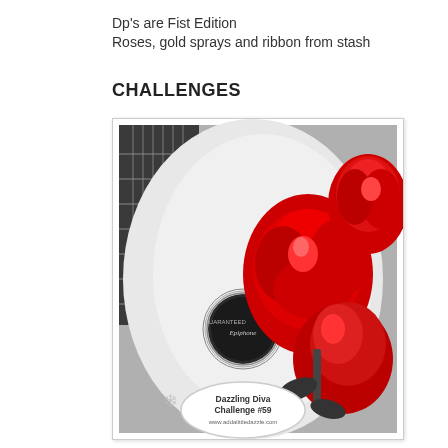Dp's are Fist Edition
Roses, gold sprays and ribbon from stash
CHALLENGES
[Figure (photo): Black and white photo of an acoustic Epiphone guitar with three vibrant red roses overlaid in color. An oval badge reads 'Dazzling Diva Challenge #59 www.addalittledazzle.com'.]